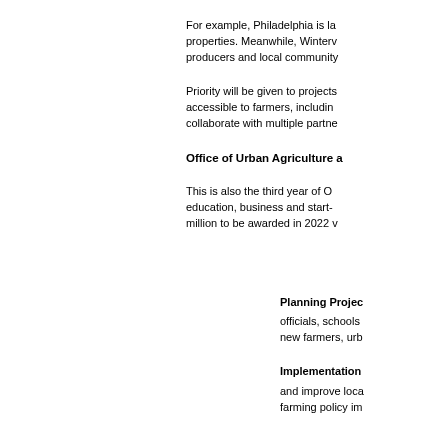For example, Philadelphia is la properties. Meanwhile, Winterv producers and local community
Priority will be given to projects accessible to farmers, includin collaborate with multiple partne
Office of Urban Agriculture a
This is also the third year of O education, business and start- million to be awarded in 2022 v
Planning Projec
officials, schools new farmers, urb
Implementation
and improve loca farming policy im